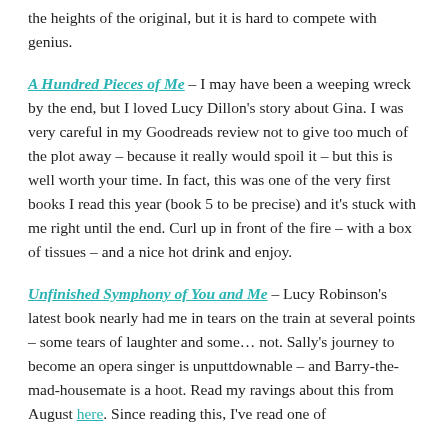the heights of the original, but it is hard to compete with genius.
A Hundred Pieces of Me – I may have been a weeping wreck by the end, but I loved Lucy Dillon's story about Gina. I was very careful in my Goodreads review not to give too much of the plot away – because it really would spoil it – but this is well worth your time. In fact, this was one of the very first books I read this year (book 5 to be precise) and it's stuck with me right until the end. Curl up in front of the fire – with a box of tissues – and a nice hot drink and enjoy.
Unfinished Symphony of You and Me – Lucy Robinson's latest book nearly had me in tears on the train at several points – some tears of laughter and some… not. Sally's journey to become an opera singer is unputtdownable – and Barry-the-mad-housemate is a hoot. Read my ravings about this from August here. Since reading this, I've read one of